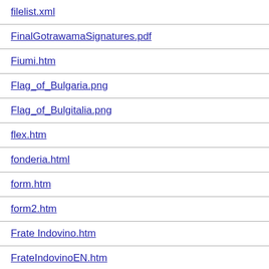filelist.xml
FinalGotrawamaSignatures.pdf
Fiumi.htm
Flag_of_Bulgaria.png
Flag_of_Bulgitalia.png
flex.htm
fonderia.html
form.htm
form2.htm
Frate Indovino.htm
FrateIndovinoEN.htm